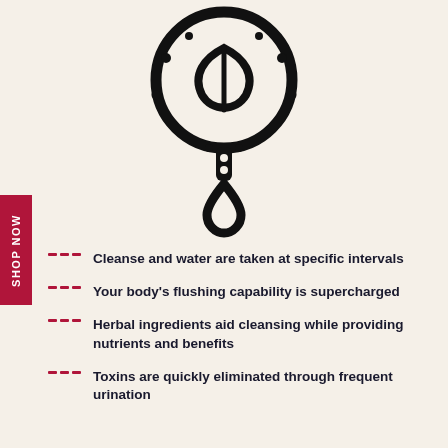[Figure (illustration): Black line art icon of a magnifying glass with a leaf/herb inside and dots around it, with a water droplet hanging below — symbolizing herbal cleanse or detox]
Cleanse and water are taken at specific intervals
Your body's flushing capability is supercharged
Herbal ingredients aid cleansing while providing nutrients and benefits
Toxins are quickly eliminated through frequent urination